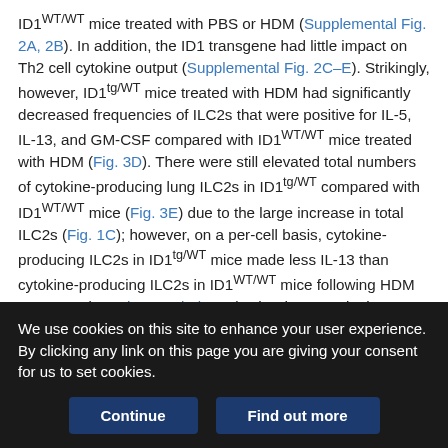ID1WT/WT mice treated with PBS or HDM (Supplemental Fig. 2A, 2B). In addition, the ID1 transgene had little impact on Th2 cell cytokine output (Supplemental Fig. 2C–E). Strikingly, however, ID1tg/WT mice treated with HDM had significantly decreased frequencies of ILC2s that were positive for IL-5, IL-13, and GM-CSF compared with ID1WT/WT mice treated with HDM (Fig. 3D). There were still elevated total numbers of cytokine-producing lung ILC2s in ID1tg/WT compared with ID1WT/WT mice (Fig. 3E) due to the large increase in total ILC2s (Fig. 1C); however, on a per-cell basis, cytokine-producing ILC2s in ID1tg/WT mice made less IL-13 than cytokine-producing ILC2s in ID1WT/WT mice following HDM treatment (Supplemental Fig. 2F). The decrease in the frequency of IL-5 and IL-13 producers in ID1tg/WT compared with ID1WT/WT
We use cookies on this site to enhance your user experience. By clicking any link on this page you are giving your consent for us to set cookies.